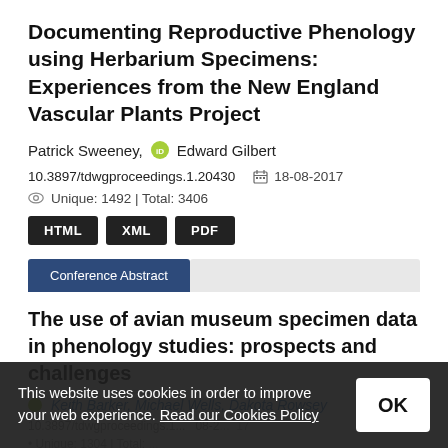Documenting Reproductive Phenology using Herbarium Specimens: Experiences from the New England Vascular Plants Project
Patrick Sweeney, [ORCID] Edward Gilbert
10.3897/tdwgproceedings.1.20430   18-08-2017
Unique: 1492 | Total: 3406
HTML  XML  PDF
Conference Abstract
The use of avian museum specimen data in phenology studies: prospects and challenges
Keith Barker, Michael Wells, Dakota Rowsey
10.3897/tdwgproceedings.1...  18-08-2...
Unique: 1304 | Total: ...
This website uses cookies in order to improve your web experience. Read our Cookies Policy